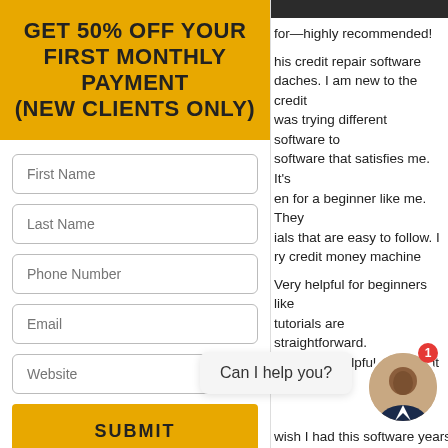GET 50% OFF YOUR FIRST MONTHLY PAYMENT (NEW CLIENTS ONLY)
First Name
Last Name
Phone Number
Email
Website
SUBMIT
OFFER VALID FOR NEW CLIENTS AND FOR A TIME
for—highly recommended! This credit repair software daches. I am new to the credit was trying different software to software that satisfies me. It's en for a beginner like me. They ials that are easy to follow. I ry credit money machine Very helpful for beginners like tutorials are straightforward. ort is very helpful and patient ries. wish I had this software years
Can I help you?